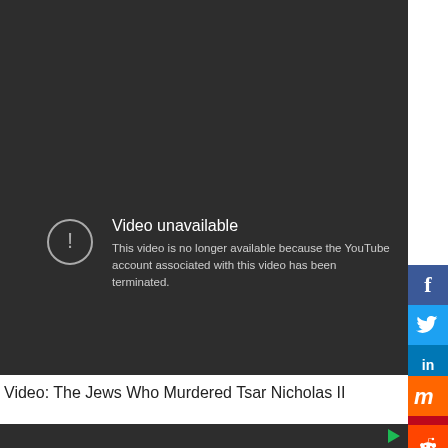[Figure (screenshot): YouTube video unavailable screen with dark background showing error icon and message: 'Video unavailable - This video is no longer available because the YouTube account associated with this video has been terminated.']
Video: The Jews Who Murdered Tsar Nicholas II
[Figure (screenshot): Second dark video player area with green play button arrow on right side]